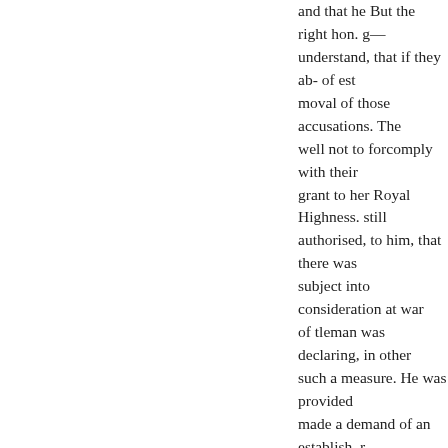and that he But the right hon. g— understand, that if they ab- of est moval of those accusations. The well not to forcomply with their grant to her Royal Highness. still authorised, to him, that there was subject into consideration at war of tleman was declaring, in other such a measure. He was provided made a demand of an establish, r of so he knew no charge against (and be it re. who so pointedly di catechising the right hon. gentlec questions subjects of the state of public could get accounts hon. ge delicate, or unparliamentary, in h reverse of all song of bis Majesty asked for to each of the Prin- ma mily, what could be more natural to ask why another the purpose o person in that high and exalted si was placed? sition for a money g declaring it to be his decided wel right, right hon. gentleman, that h